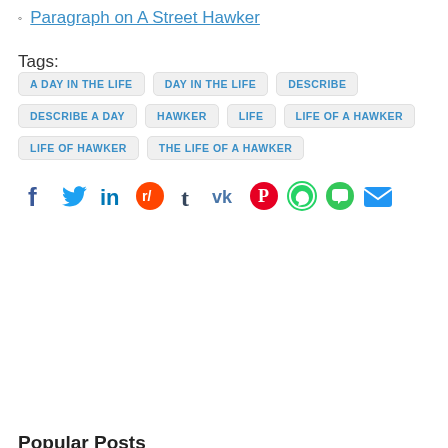Paragraph on A Street Hawker
Tags: A DAY IN THE LIFE  DAY IN THE LIFE  DESCRIBE  DESCRIBE A DAY  HAWKER  LIFE  LIFE OF A HAWKER  LIFE OF HAWKER  THE LIFE OF A HAWKER
[Figure (infographic): Social media share icons row: Facebook, Twitter, LinkedIn, Reddit, Tumblr, VK, Pinterest, WhatsApp, Messages, Email]
Popular Posts